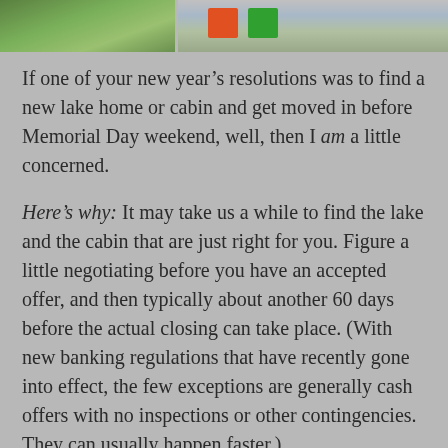[Figure (photo): Two outdoor photographs side by side showing a lakeside or cabin scene with greenery on the left and outdoor furniture (chairs) on the right.]
If one of your new year’s resolutions was to find a new lake home or cabin and get moved in before Memorial Day weekend, well, then I am a little concerned.
Here’s why: It may take us a while to find the lake and the cabin that are just right for you. Figure a little negotiating before you have an accepted offer, and then typically about another 60 days before the actual closing can take place. (With new banking regulations that have recently gone into effect, the few exceptions are generally cash offers with no inspections or other contingencies. They can usually happen faster.)